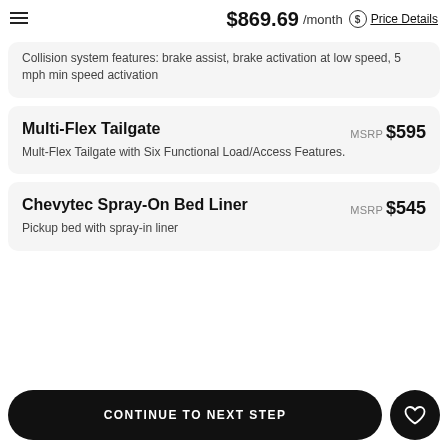$869.69 /month  Price Details
Collision system features: brake assist, brake activation at low speed, 5 mph min speed activation
Multi-Flex Tailgate
MSRP $595
Mult-Flex Tailgate with Six Functional Load/Access Features.
Chevytec Spray-On Bed Liner
MSRP $545
Pickup bed with spray-in liner
CONTINUE TO NEXT STEP